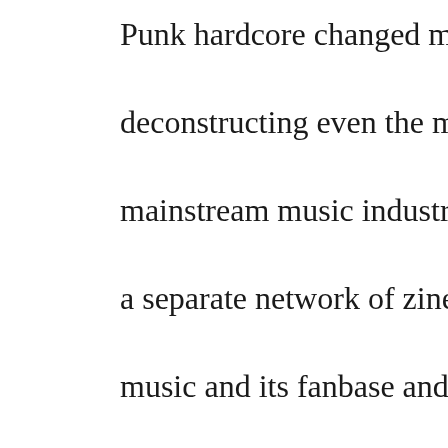Punk hardcore changed music for two, deconstructing even the marginal mainstream music industry entirely with a separate network of zines, radio stations, music and its fanbase and excluded challenged the counter-culture and the Punks lived in squats, or appropriated dedicated their time to not becoming thought peace would save the world. people were terrible, and no easy solutions time for war!